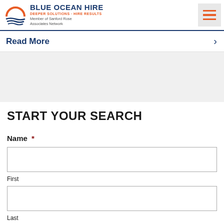Blue Ocean Hire — Deeper Solutions · Hire Results, Member of Sanford Rose Associates Network
Read More
START YOUR SEARCH
Name *
First
Last